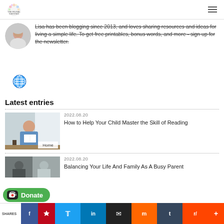The Frugal Stationer - navigation bar with logo and hamburger menu
[Figure (photo): Circular avatar photo of a woman with gray hair]
Lisa has been blogging since 2013, and loves sharing resources and ideas for living a simple life. To get free printables, bonus words, and more - sign up for the newsletter.
[Figure (illustration): Blue globe/website icon]
Latest entries
[Figure (photo): Thumbnail image of a girl reading a book, with 'Home' tag overlay]
2022.08.20
How to Help Your Child Master the Skill of Reading
[Figure (photo): Thumbnail image for second entry (partially visible)]
2022.08.20
Balancing Your Life And Family As A Busy Parent
[Figure (illustration): Green Donate button with Ko-fi cup icon]
SHARES | Facebook | Pinterest | Twitter | LinkedIn | Email | Mix | Tumblr | Reddit | More